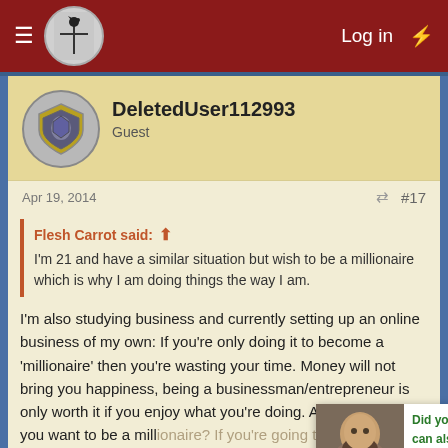Log in
DeletedUser112993
Guest
Apr 19, 2014  #17
Flesh Carrot said:
I'm 21 and have a similar situation but wish to be a millionaire which is why I am doing things the way I am.
I'm also studying business and currently setting up an online business of my own: If you're only doing it to become a 'millionaire' then you're wasting your time. Money will not bring you happiness, being a businessman/entrepreneur is only worth it if you enjoy what you're doing. Ask yourself, why you want to be a millionaire? If you're going to be a very vain individual. :/
Did you know you can also visit us on our Discord chat? Come and meet us!
DaWolf85